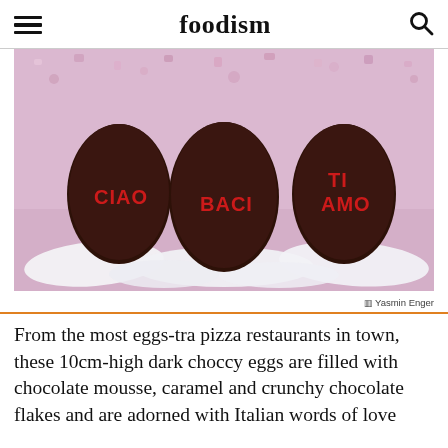foodism
[Figure (photo): Three dark chocolate eggs on white feathers against a pink illustrated background. Each egg has red lettering: left egg reads CIAO, middle egg reads BACI, right egg reads TI AMO.]
Yasmin Enger
From the most eggs-tra pizza restaurants in town, these 10cm-high dark choccy eggs are filled with chocolate mousse, caramel and crunchy chocolate flakes and are adorned with Italian words of love